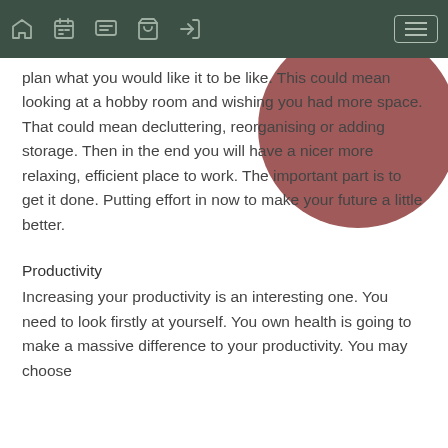Navigation bar with home, calendar, chat, cart, login icons and menu button
[Figure (illustration): Partial circle/semicircle shape in muted rose/mauve color in upper right area of content]
plan what you would like it to be like. This could mean looking at a hobby room and wishing you had more space. That could mean decluttering, reorganising or adding storage. Then in the end you will have a nicer more relaxing, efficient place to work. The important part is to get it done. Putting effort in now to make your future a little better.
Productivity
Increasing your productivity is an interesting one. You need to look firstly at yourself. You own health is going to make a massive difference to your productivity. You may choose